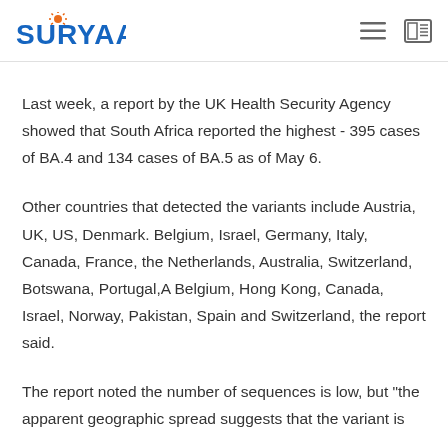SURYAA
Last week, a report by the UK Health Security Agency showed that South Africa reported the highest - 395 cases of BA.4 and 134 cases of BA.5 as of May 6.
Other countries that detected the variants include Austria, UK, US, Denmark. Belgium, Israel, Germany, Italy, Canada, France, the Netherlands, Australia, Switzerland, Botswana, Portugal,A Belgium, Hong Kong, Canada, Israel, Norway, Pakistan, Spain and Switzerland, the report said.
The report noted the number of sequences is low, but "the apparent geographic spread suggests that the variant is